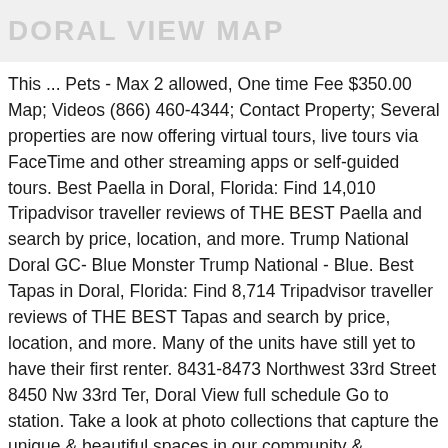DORAL VIEW MAP
This ... Pets - Max 2 allowed, One time Fee $350.00 Map; Videos (866) 460-4344; Contact Property; Several properties are now offering virtual tours, live tours via FaceTime and other streaming apps or self-guided tours. Best Paella in Doral, Florida: Find 14,010 Tripadvisor traveller reviews of THE BEST Paella and search by price, location, and more. Trump National Doral GC- Blue Monster Trump National - Blue. Best Tapas in Doral, Florida: Find 8,714 Tripadvisor traveller reviews of THE BEST Tapas and search by price, location, and more. Many of the units have still yet to have their first renter. 8431-8473 Northwest 33rd Street 8450 Nw 33rd Ter, Doral View full schedule Go to station. Take a look at photo collections that capture the unique & beautiful spaces in our community & apartments. Best Greek Restaurants in Doral, Florida: Find